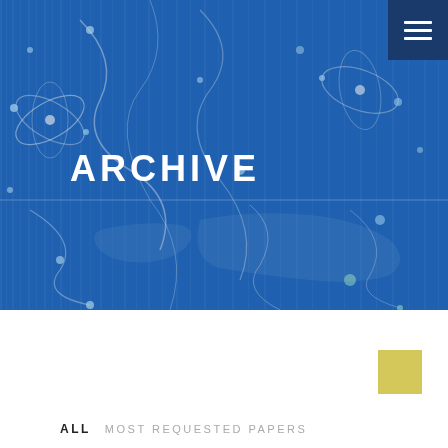[Figure (illustration): Blue abstract scientific background with atomic/network line art patterns and glowing dots, used as hero banner image]
ARCHIVE
[Figure (other): Small yellow/khaki decorative square element in white content area]
ALL  MOST REQUESTED PAPERS